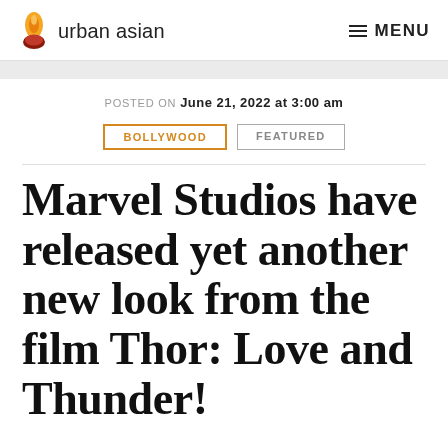urban asian  MENU
POSTED ON June 21, 2022 at 3:00 am
BOLLYWOOD  FEATURED
Marvel Studios have released yet another new look from the film Thor: Love and Thunder!